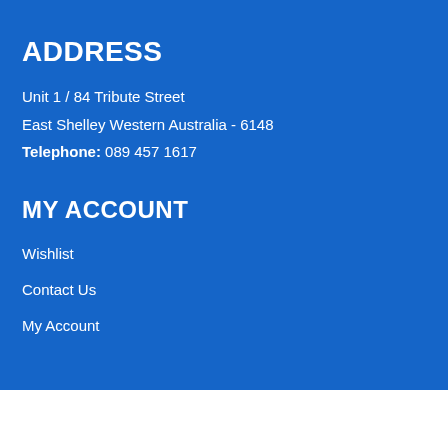ADDRESS
Unit 1 / 84 Tribute Street
East Shelley Western Australia - 6148
Telephone: 089 457 1617
MY ACCOUNT
Wishlist
Contact Us
My Account